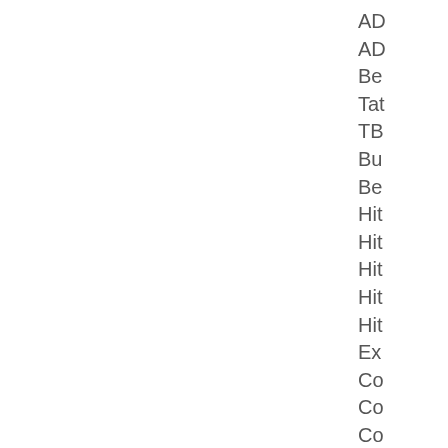AD
AD
Be
Tat
TB
Bu
Be
Hit
Hit
Hit
Hit
Hit
Ex
Co
Co
Co
Co
Co
Co